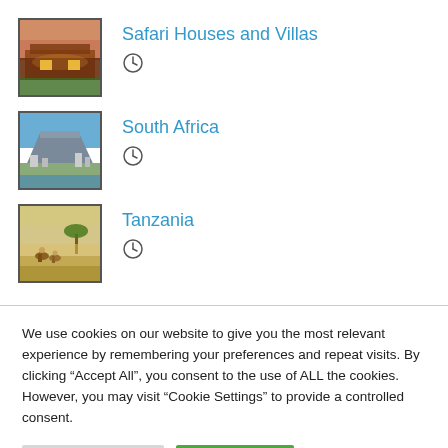Safari Houses and Villas
[Figure (photo): Thumbnail photo of a safari house/villa at dusk with warm lighting]
South Africa
[Figure (photo): Thumbnail aerial photo of Cape Town with Table Mountain]
Tanzania
[Figure (photo): Thumbnail photo of safari scene with people on horseback in grassland]
We use cookies on our website to give you the most relevant experience by remembering your preferences and repeat visits. By clicking “Accept All”, you consent to the use of ALL the cookies. However, you may visit "Cookie Settings" to provide a controlled consent.